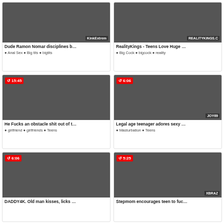[Figure (screenshot): Video thumbnail grid - adult content website with 6 video cards in a 2x3 grid layout]
Dude Ramon Nomar disciplines b...
Anal Sex
Big tits
bigtits
RealityKings - Teens Love Huge ...
Big Cock
bigcock
reality
He Fucks an obstacle shit out of t...
girlfriend
girlfriends
Teens
Legal age teenager adores sexy ...
Masturbation
Teens
DADDY4K. Old man kisses, licks ...
Stepmom encourages teen to fuc...